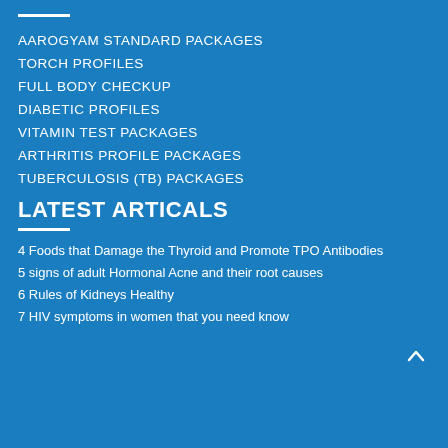AAROGYAM STANDARD PACKAGES
TORCH PROFILES
FULL BODY CHECKUP
DIABETIC PROFILES
VITAMIN TEST PACKAGES
ARTHRITIS PROFILE PACKAGES
TUBERCULOSIS (TB) PACKAGES
LATEST ARTICALS
4 Foods that Damage the Thyroid and Promote TPO Antibodies
5 signs of adult Hormonal Acne and their root causes
6 Rules of Kidneys Healthy
7 HIV symptoms in women that you need know